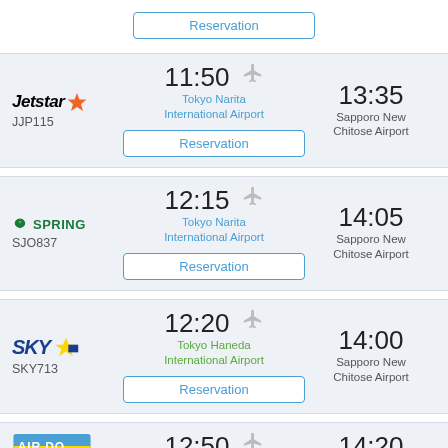Reservation
Jetstar JJP115 | 11:50 Tokyo Narita International Airport → 13:35 Sapporo New Chitose Airport
Reservation
Spring SJO837 | 12:15 Tokyo Narita International Airport → 14:05 Sapporo New Chitose Airport
Reservation
SKY713 | 12:20 Tokyo Haneda International Airport → 14:00 Sapporo New Chitose Airport
Reservation
AIR DO | 12:50 → 14:20